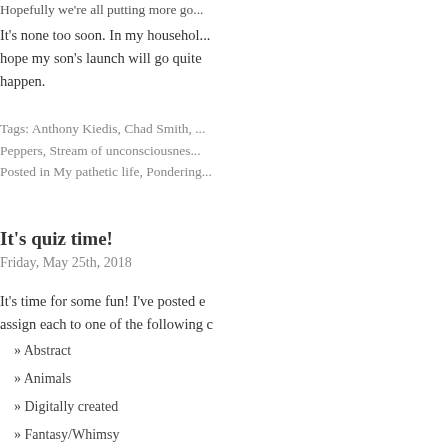Hopefully we're all putting more go...
It's none too soon. In my household, hope my son's launch will go quite happen.
Tags: Anthony Kiedis, Chad Smith, ... Peppers, Stream of unconsciousness Posted in My pathetic life, Pondering...
It's quiz time!
Friday, May 25th, 2018
It's time for some fun! I've posted e assign each to one of the following c
» Abstract
» Animals
» Digitally created
» Fantasy/Whimsy
» Naturescape
» Painted
» People, portraits, and figures
» Pictorial (objects, still life, wildlife